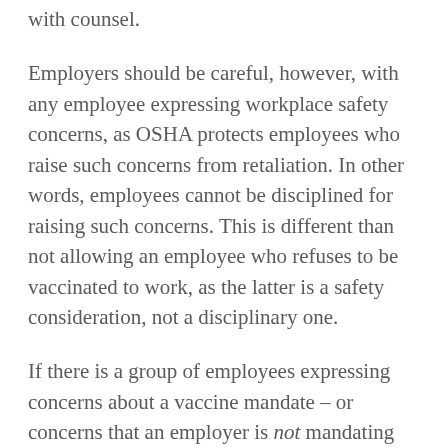with counsel.
Employers should be careful, however, with any employee expressing workplace safety concerns, as OSHA protects employees who raise such concerns from retaliation. In other words, employees cannot be disciplined for raising such concerns. This is different than not allowing an employee who refuses to be vaccinated to work, as the latter is a safety consideration, not a disciplinary one.
If there is a group of employees expressing concerns about a vaccine mandate – or concerns that an employer is not mandating the vaccine for all employees – this would likely be considered protected concerted activity under the National Labor Relations Act. This does not mean that the employer must yield